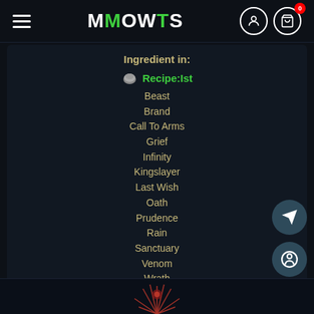MMOWTS
Ingredient in:
Recipe:Ist
Beast
Brand
Call To Arms
Grief
Infinity
Kingslayer
Last Wish
Oath
Prudence
Rain
Sanctuary
Venom
Wrath
Product of:
Recipe:Mal
[Figure (illustration): Decorative game item graphic at bottom of page]